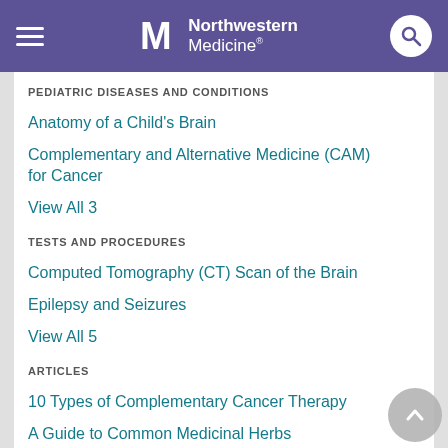Northwestern Medicine
PEDIATRIC DISEASES AND CONDITIONS
Anatomy of a Child's Brain
Complementary and Alternative Medicine (CAM) for Cancer
View All 3
TESTS AND PROCEDURES
Computed Tomography (CT) Scan of the Brain
Epilepsy and Seizures
View All 5
ARTICLES
10 Types of Complementary Cancer Therapy
A Guide to Common Medicinal Herbs